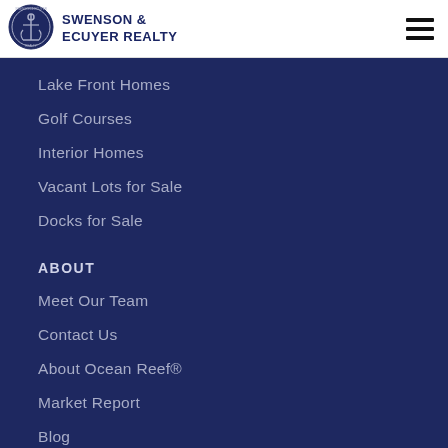[Figure (logo): Swenson & Ecuyer Realty circular logo with anchor]
SWENSON & ECUYER REALTY
Lake Front Homes
Golf Courses
Interior Homes
Vacant Lots for Sale
Docks for Sale
ABOUT
Meet Our Team
Contact Us
About Ocean Reef®
Market Report
Blog